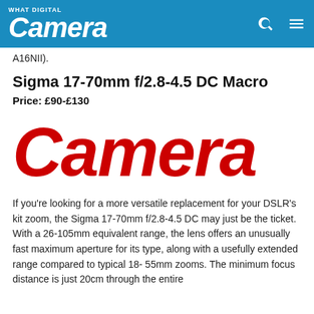What Digital Camera
A16NII).
Sigma 17-70mm f/2.8-4.5 DC Macro
Price: £90-£130
[Figure (logo): Large red italic 'Camera' logo text]
If you're looking for a more versatile replacement for your DSLR's kit zoom, the Sigma 17-70mm f/2.8-4.5 DC may just be the ticket. With a 26-105mm equivalent range, the lens offers an unusually fast maximum aperture for its type, along with a usefully extended range compared to typical 18-55mm zooms. The minimum focus distance is just 20cm through the entire